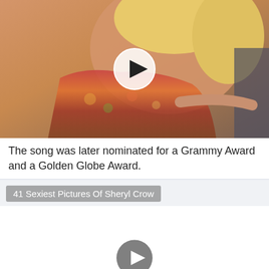[Figure (photo): Video thumbnail showing a woman with blonde hair wearing a floral dress, with a play button overlay in the center.]
The song was later nominated for a Grammy Award and a Golden Globe Award.
[Figure (screenshot): Second video thumbnail with a gray/white background, title bar reading '41 Sexiest Pictures Of Sheryl Crow', and a dark play button in the center.]